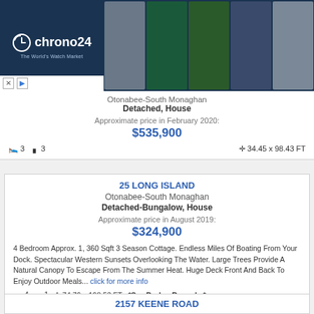[Figure (screenshot): Chrono24 advertisement banner showing watch market logo and 5 watch photos]
Otonabee-South Monaghan
Detached, House
Approximate price in February 2020:
$535,900
🛏 3  🚿 3  ✛ 34.45 x 98.43 FT
25 LONG ISLAND
Otonabee-South Monaghan
Detached-Bungalow, House
Approximate price in August 2019:
$324,900
4 Bedroom Approx. 1, 360 Sqft 3 Season Cottage. Endless Miles Of Boating From Your Dock. Spectacular Western Sunsets Overlooking The Water. Large Trees Provide A Natural Canopy To Escape From The Summer Heat. Huge Deck Front And Back To Enjoy Outdoor Meals... click for more info
🛏 4  🚿 1  ✛ 74.76 x 198.53 FT . *See Broker Remarks*
2157 KEENE ROAD